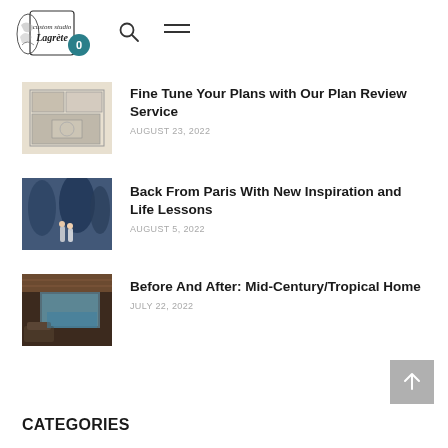Custom Studio Lagrete — logo, search, menu, cart (0)
Fine Tune Your Plans with Our Plan Review Service
AUGUST 23, 2022
Back From Paris With New Inspiration and Life Lessons
AUGUST 5, 2022
Before And After: Mid-Century/Tropical Home
JULY 22, 2022
CATEGORIES